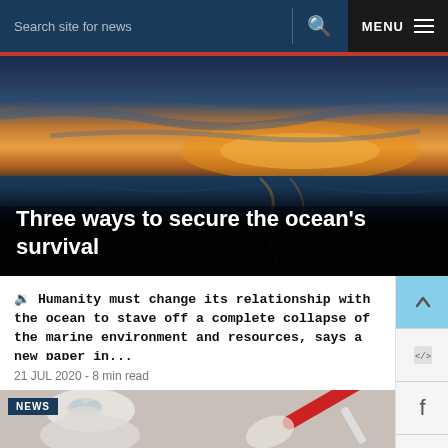Search site for news  MENU
[Figure (photo): Ocean/seascape photo with dramatic sky at dusk, dark water in foreground]
Three ways to secure the ocean's survival
🔊 Humanity must change its relationship with the ocean to stave off a complete collapse of the marine environment and resources, says a new paper in...
21 JUL 2020 - 8 min read
[Figure (photo): News article image: medical professional in white protective gear, mask, and goggles holding a red-capped test tube or syringe]
NEWS